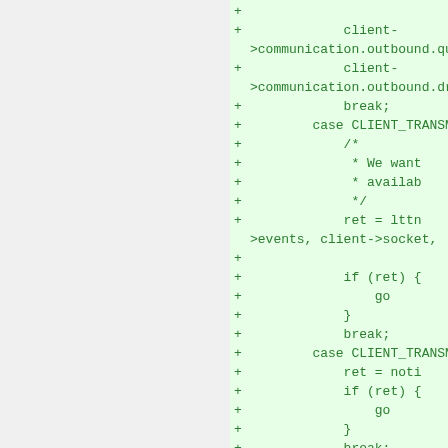Code diff showing added lines with client communication, socket events, break statements, and CLIENT_TRANSM case blocks
[Figure (screenshot): Code diff view showing added lines (marked with +) in green background, containing C/C++ code with client->communication.outbound, break statements, CLIENT_TRANSM cases, if(ret) blocks with goto, and function calls like lttn and noti]